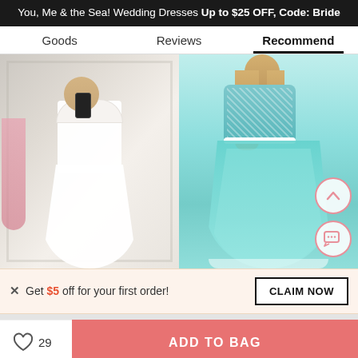You, Me & the Sea! Wedding Dresses Up to $25 OFF, Code: Bride
Goods   Reviews   Recommend
[Figure (photo): Woman in white lace short dress taking a mirror selfie in a bridal shop]
[Figure (photo): Woman wearing a turquoise/mint sequined ball gown short dress]
× Get $5 off for your first order!
CLAIM NOW
29
ADD TO BAG